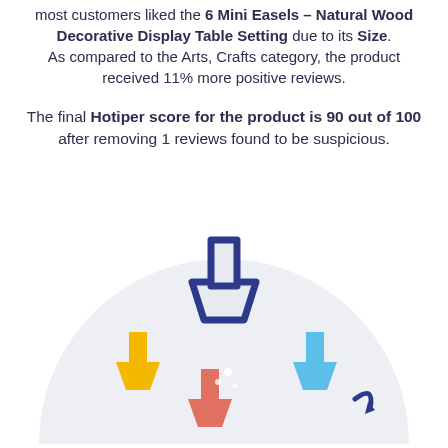most customers liked the 6 Mini Easels – Natural Wood Decorative Display Table Setting due to its Size. As compared to the Arts, Crafts category, the product received 11% more positive reviews.
The final Hotiper score for the product is 90 out of 100 after removing 1 reviews found to be suspicious.
[Figure (infographic): A light gray circle with multiple downward-pointing arrows of different colors: a large dark navy/blue outlined arrow at top center, a yellow filled arrow on the left, a blue filled arrow on the right, a salmon/red filled arrow at bottom center, and a small dark blue curved line/arrow at the bottom right. Small white star/sparkle shapes near the center.]